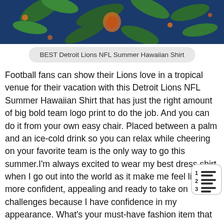[Figure (photo): Partial image of a person wearing a Detroit Lions NFL Summer Hawaiian Shirt with tropical/palm leaf print and team logo, cropped at top of page.]
BEST Detroit Lions NFL Summer Hawaiian Shirt
Football fans can show their Lions love in a tropical venue for their vacation with this Detroit Lions NFL Summer Hawaiian Shirt that has just the right amount of big bold team logo print to do the job. And you can do it from your own easy chair. Placed between a palm and an ice-cold drink so you can relax while cheering on your favorite team is the only way to go this summer.I’m always excited to wear my best dress shirt when I go out into the world as it make me feel like more confident, appealing and ready to take on challenges because I have confidence in my appearance. What’s your must-have fashion item that make you feel good about yourself? (MLA 26)Sports Fans Turn To Spirit Patches For Ranked Sports Team Adherencehttps://www.qwsi.com/best_detroit_lions_nfl_summ